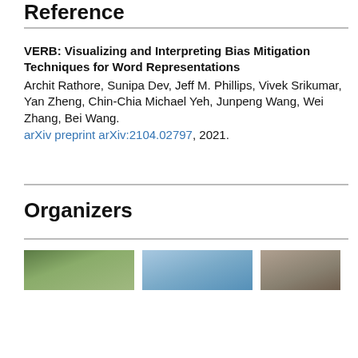Reference
VERB: Visualizing and Interpreting Bias Mitigation Techniques for Word Representations
Archit Rathore, Sunipa Dev, Jeff M. Phillips, Vivek Srikumar, Yan Zheng, Chin-Chia Michael Yeh, Junpeng Wang, Wei Zhang, Bei Wang.
arXiv preprint arXiv:2104.02797, 2021.
Organizers
[Figure (photo): Three partially visible headshot photos of organizers arranged side by side]